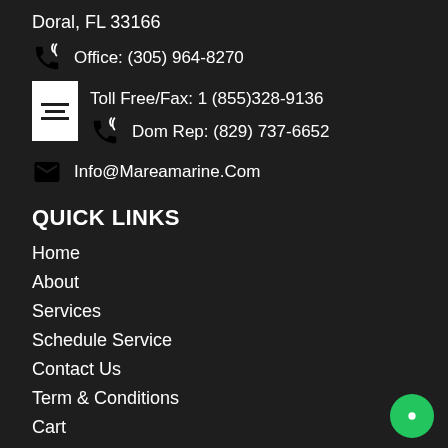Doral, FL 33166
Office: (305) 964-8270
Toll Free/Fax: 1 (855)328-9136
Dom Rep: (829) 737-6652
Info@Mareamarine.Com
QUICK LINKS
Home
About
Services
Schedule Service
Contact Us
Term & Conditions
Cart